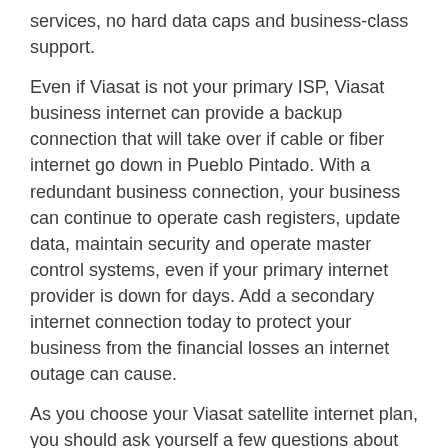services, no hard data caps and business-class support.
Even if Viasat is not your primary ISP, Viasat business internet can provide a backup connection that will take over if cable or fiber internet go down in Pueblo Pintado. With a redundant business connection, your business can continue to operate cash registers, update data, maintain security and operate master control systems, even if your primary internet provider is down for days. Add a secondary internet connection today to protect your business from the financial losses an internet outage can cause.
As you choose your Viasat satellite internet plan, you should ask yourself a few questions about the role internet plays in your Pueblo Pintado household:
Who will use the internet, and what are their internet usage habits?
Will you have visitors who expect high-speed internet